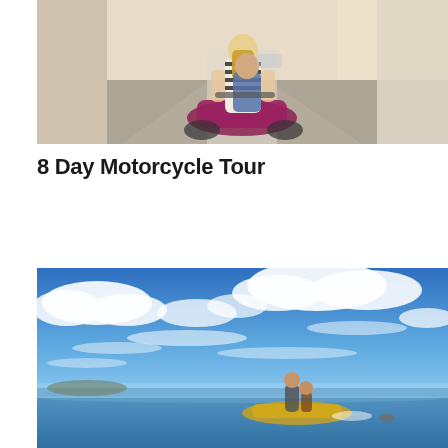[Figure (photo): Two people riding a motorcycle on a cobblestone street. The passenger has long hair and is wearing a striped top. Buildings are visible on both sides of the street.]
8 Day Motorcycle Tour
[Figure (photo): Two people on a jet ski or small watercraft on calm ocean water under a blue sky with scattered white clouds.]